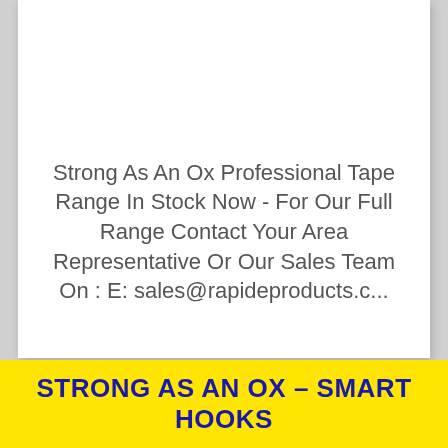Strong As An Ox Professional Tape Range In Stock Now - For Our Full Range Contact Your Area Representative Or Our Sales Team On : E: sales@rapideproducts.c...
STRONG AS AN OX – SMART HOOKS